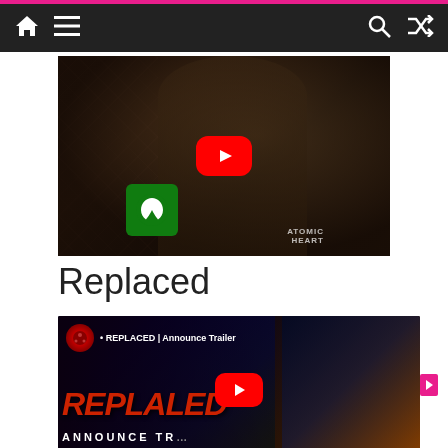Navigation bar with home, menu, search, and shuffle icons
[Figure (screenshot): Atomic Heart game video thumbnail showing a character holding a weapon with Xbox logo and YouTube play button. Text: ATOMIC HEART]
Replaced
[Figure (screenshot): REPLACED Announce Trailer YouTube video thumbnail with red stylized REPLACED text and ANNOUNCE TR... subtitle, YouTube play button visible]